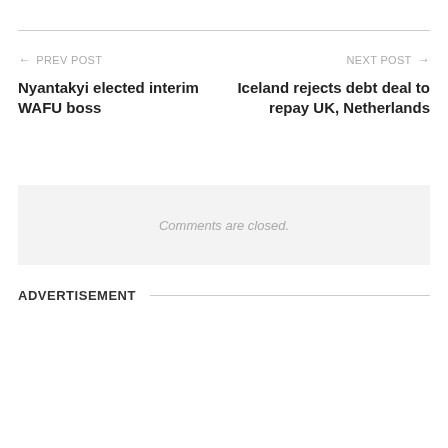← PREV POST
NEXT POST →
Nyantakyi elected interim WAFU boss
Iceland rejects debt deal to repay UK, Netherlands
Comments are closed.
ADVERTISEMENT